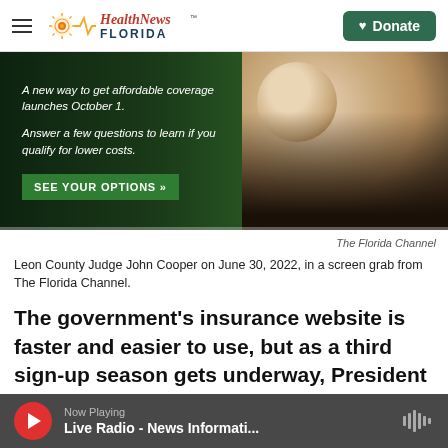HealthNews FLORIDA — Donate
[Figure (screenshot): Healthcare.gov advertisement banner showing a smiling woman and text: 'A new way to get affordable coverage launches October 1. Answer a few questions to learn if you qualify for lower costs.' with a green 'SEE YOUR OPTIONS »' button]
The Florida Channel
Leon County Judge John Cooper on June 30, 2022, in a screen grab from The Florida Channel.
The government's insurance website is faster and easier to use, but as a third sign-up season gets underway, President Barack Obama's health care law is approaching limits.
Now Playing — Live Radio - News Informati...